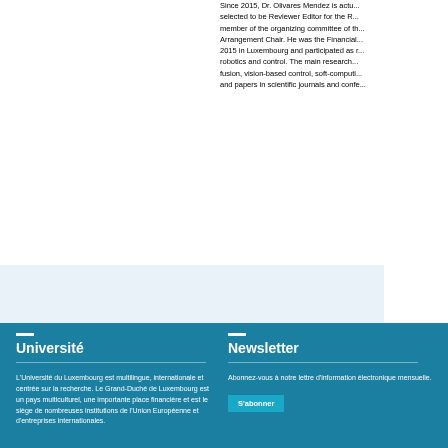Since 2015, Dr. Olivares Mendez is actu... selected to be Reviewer Editor for the R... member of the organizing committee of th... Arrangement Chair. He was the Financial... 2015 in Luxembourg and participated as r... robotics and control. The main research... fusion, vision-based control, soft-computi... and papers in scientific journals and confe...
Université
L'Université du Luxembourg est multilingue, internationale et centrée sur la recherche. Le Grand-Duché de Luxembourg est un pays multiculturel, une importante place financière et est le siège de nombreuses institutions de l'Union Européenne et d'entreprises internationales.
Newsletter
Abonnez-vous à notre lettre d'information électronique mensuelle.
S'abonner